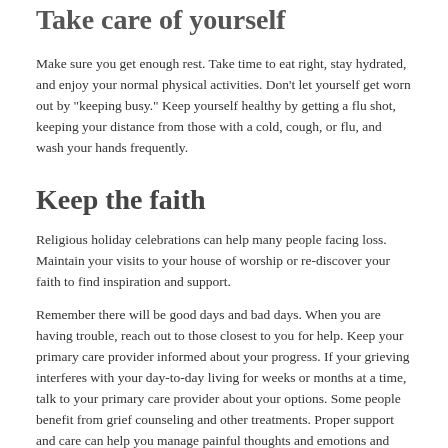Take care of yourself
Make sure you get enough rest. Take time to eat right, stay hydrated, and enjoy your normal physical activities. Don't let yourself get worn out by "keeping busy." Keep yourself healthy by getting a flu shot, keeping your distance from those with a cold, cough, or flu, and wash your hands frequently.
Keep the faith
Religious holiday celebrations can help many people facing loss. Maintain your visits to your house of worship or re-discover your faith to find inspiration and support.
Remember there will be good days and bad days. When you are having trouble, reach out to those closest to you for help. Keep your primary care provider informed about your progress. If your grieving interferes with your day-to-day living for weeks or months at a time, talk to your primary care provider about your options. Some people benefit from grief counseling and other treatments. Proper support and care can help you manage painful thoughts and emotions and help you